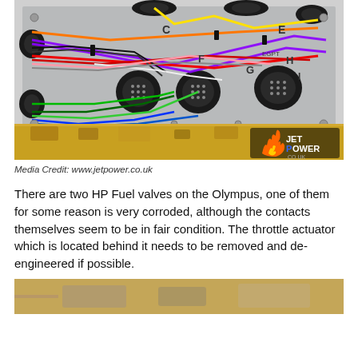[Figure (photo): Interior of an electrical junction box showing multiple colored wires and multi-pin connectors, labeled with letters C, E, F, G, H, I. Yellow corroded exterior visible at bottom. JetPower.co.uk logo in bottom right corner.]
Media Credit: www.jetpower.co.uk
There are two HP Fuel valves on the Olympus, one of them for some reason is very corroded, although the contacts themselves seem to be in fair condition. The throttle actuator which is located behind it needs to be removed and de-engineered if possible.
[Figure (photo): Bottom partial photo showing a metallic/mechanical component, partially visible.]